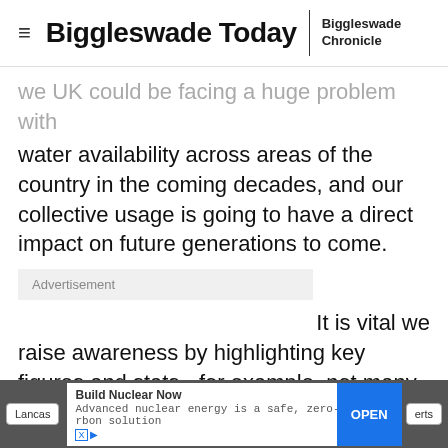Biggleswade Today | Biggleswade Chronicle
we UK could be facing a huge problem with water availability across areas of the country in the coming decades, and our collective usage is going to have a direct impact on future generations to come.
Advertisement
It is vital we raise awareness by highlighting key figures and stats - for example, not many people know that a bath uses 80 litres of water in one go!"
Build Nuclear Now Advanced nuclear energy is a safe, zero-carbon solution OPEN